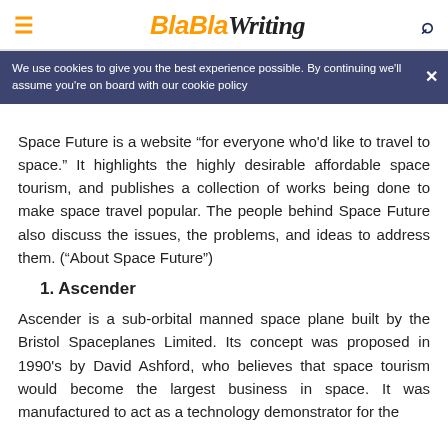BlaBlaWriting
We use cookies to give you the best experience possible. By continuing we'll assume you're on board with our cookie policy
Space Future is a website “for everyone who’d like to travel to space.” It highlights the highly desirable affordable space tourism, and publishes a collection of works being done to make space travel popular. The people behind Space Future also discuss the issues, the problems, and ideas to address them. (“About Space Future”)
1. Ascender
Ascender is a sub-orbital manned space plane built by the Bristol Spaceplanes Limited. Its concept was proposed in 1990’s by David Ashford, who believes that space tourism would become the largest business in space. It was manufactured to act as a technology demonstrator for the